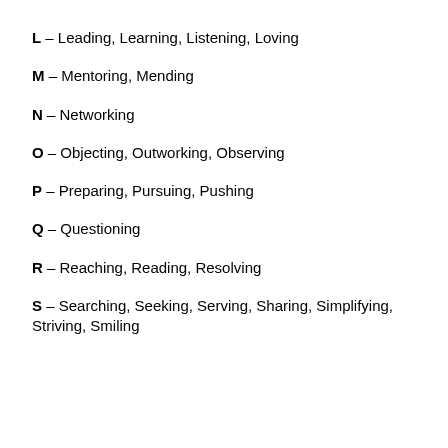L – Leading, Learning, Listening, Loving
M – Mentoring, Mending
N – Networking
O – Objecting, Outworking, Observing
P – Preparing, Pursuing, Pushing
Q – Questioning
R – Reaching, Reading, Resolving
S – Searching, Seeking, Serving, Sharing, Simplifying, Striving, Smiling